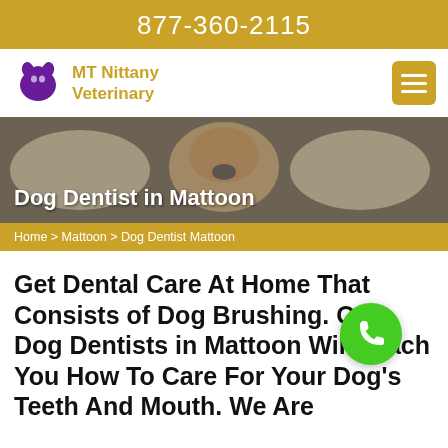877-360-2115
[Figure (logo): MT Nittany Veterinary logo with purple animal graphic and gold text]
[Figure (photo): Close-up photo of a small dog's mouth being examined with dental tools by gloved hands]
Dog Dentist in Mattoon
Home > Mattoon > Dog Dentist Mattoon
Get Dental Care At Home That Consists of Dog Brushing. Our Dog Dentists in Mattoon Will Teach You How To Care For Your Dog's Teeth And Mouth. We Are